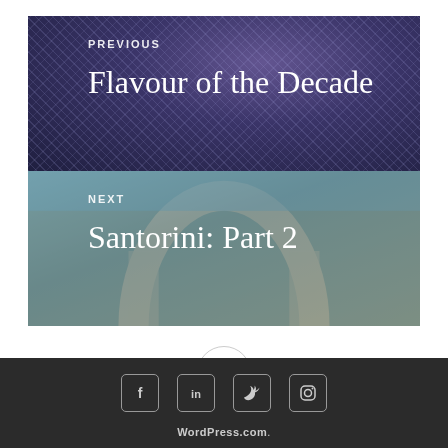[Figure (photo): Previous post navigation block with dark purple/blue bokeh background texture. Label PREVIOUS above title.]
PREVIOUS
Flavour of the Decade
[Figure (photo): Next post navigation block with blurred photo of a stone archway in Santorini. Label NEXT above title.]
NEXT
Santorini: Part 2
[Figure (other): Circular button with three dots (ellipsis) in the center, white background with light gray border.]
Social media icons: Facebook, LinkedIn, Twitter, Instagram. WordPress.com.